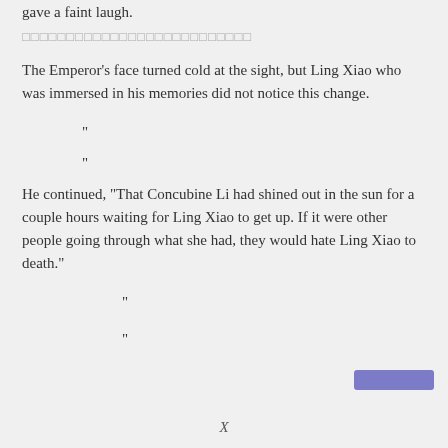gave a faint laugh.
□□□□□□□□□□□□□□□□□□□□□□□□□□
The Emperor's face turned cold at the sight, but Ling Xiao who was immersed in his memories did not notice this change.
"
"
He continued, “That Concubine Li had shined out in the sun for a couple hours waiting for Ling Xiao to get up. If it were other people going through what she had, they would hate Ling Xiao to death.”
"
"